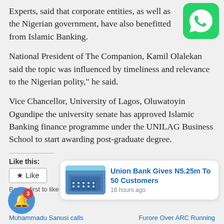Experts, said that corporate entities, as well as the Nigerian government, have also benefitted from Islamic Banking.
[Figure (logo): WhatsApp green icon in top right corner]
National President of The Companion, Kamil Olalekan said the topic was influenced by timeliness and relevance to the Nigerian polity,” he said.
Vice Chancellor, University of Lagos, Oluwatoyin Ogundipe the university senate has approved Islamic Banking finance programme under the UNILAG Business School to start awarding post-graduate degree.
Like this:
Like
Be the first to like this.
[Figure (screenshot): Popup notification card: Union Bank Gives N5.25m To 50 Customers, 16 hours ago, with building image]
[Figure (other): Blue notification bell with badge showing 3]
Muhammadu Sanusi calls
Furore Over ARC Running